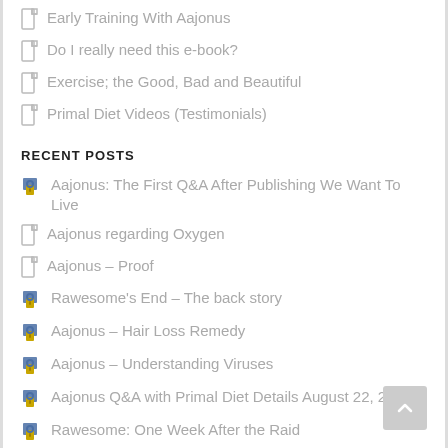Early Training With Aajonus
Do I really need this e-book?
Exercise; the Good, Bad and Beautiful
Primal Diet Videos (Testimonials)
RECENT POSTS
Aajonus: The First Q&A After Publishing We Want To Live
Aajonus regarding Oxygen
Aajonus – Proof
Rawesome's End – The back story
Aajonus – Hair Loss Remedy
Aajonus – Understanding Viruses
Aajonus Q&A with Primal Diet Details August 22, 2011
Rawesome: One Week After the Raid